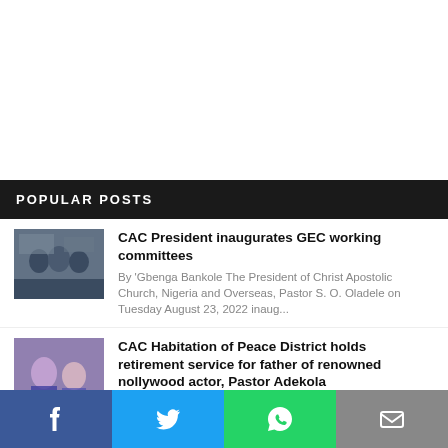POPULAR POSTS
[Figure (photo): Group photo at CAC GEC working committees inauguration event]
CAC President inaugurates GEC working committees
By 'Gbenga Bankole The President of Christ Apostolic Church, Nigeria and Overseas, Pastor S. O. Oladele on Tuesday August 23, 2022 inaug...
[Figure (photo): Nollywood Actor Odunlade Adekola with his parents at CAC Habitation of Peace retirement service]
CAC Habitation of Peace District holds retirement service for father of renowned nollywood actor, Pastor Adekola
Nollywood Actor, Odunlade Adekola with his parents Christ Apostolic Church, Habitation of Peace (Itedo-Alaafia)
[Figure (infographic): Social media share bar with Facebook, Twitter, WhatsApp, and Email buttons]